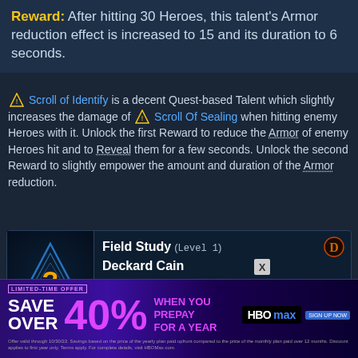Reward: After hitting 30 Heroes, this talent's Armor reduction effect is increased to 15 and its duration to 6 seconds.
🔶 Scroll of Identify is a decent Quest-based Talent which slightly increases the damage of 🔶 Scroll Of Sealing when hitting enemy Heroes with it. Unlock the first Reward to reduce the Armor of enemy Heroes hit and to Reveal them for a few seconds. Unlock the second Reward to slightly empower the amount and duration of the Armor reduction.
[Figure (screenshot): Field Study talent card for Deckard Cain showing a glowing triangle with question mark icon, title 'Field Study (Level 1)', hero name 'Deckard Cain', Diablo game logo, and description: Each enemy Hero hit by Scroll of Sealing grants 20% Spell Power for 16 seconds, up to 40%.]
🔶 Field Study is a good Talent that provides Deckard with a respectable healing power increase as well as a bit of offensive power, particularly when combined with 🔶 Scroll of Stone Curse at Level 1
[Figure (screenshot): HBO Max advertisement overlay: LIMITED-TIME OFFER - SAVE OVER 40% WHEN YOU PREPAY FOR A YEAR - HBO max logo with SIGN UP NOW button. Fine print about offer validity.]